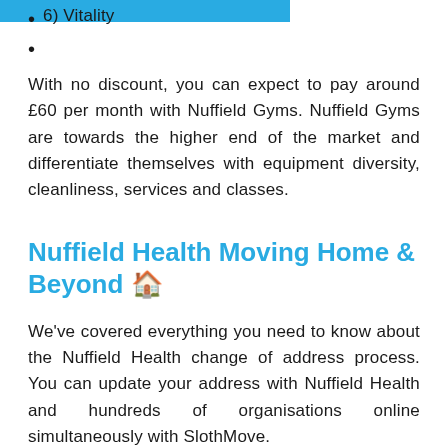5) Corporate
6) Vitality
With no discount, you can expect to pay around £60 per month with Nuffield Gyms. Nuffield Gyms are towards the higher end of the market and differentiate themselves with equipment diversity, cleanliness, services and classes.
Nuffield Health Moving Home & Beyond 🏠
We've covered everything you need to know about the Nuffield Health change of address process. You can update your address with Nuffield Health and hundreds of organisations online simultaneously with SlothMove.